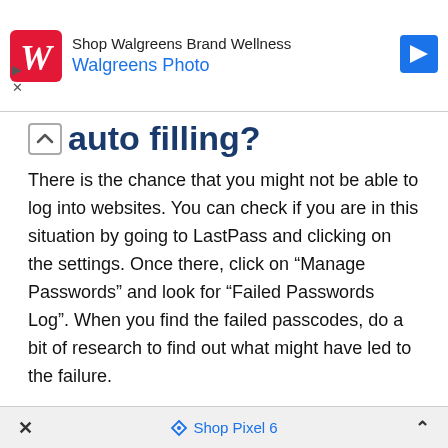[Figure (other): Walgreens advertisement banner with red W logo, text 'Shop Walgreens Brand Wellness' and 'Walgreens Photo', and a blue navigation arrow icon. Close/dismiss icons on the left.]
auto filling?
There is the chance that you might not be able to log into websites. You can check if you are in this situation by going to LastPass and clicking on the settings. Once there, click on “Manage Passwords” and look for “Failed Passwords Log”. When you find the failed passcodes, do a bit of research to find out what might have led to the failure.
Which is better LastPass or 1Password?
[Figure (other): Bottom ad bar with close X on left, 'Shop Pixel 6' link with tag icon in center, and expand chevron on right.]